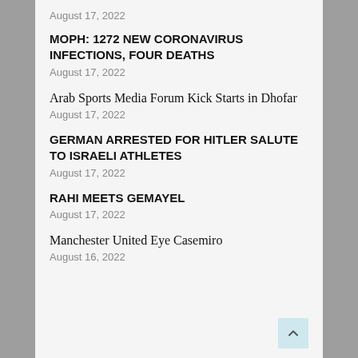August 17, 2022
MOPH: 1272 NEW CORONAVIRUS INFECTIONS, FOUR DEATHS
August 17, 2022
Arab Sports Media Forum Kick Starts in Dhofar
August 17, 2022
GERMAN ARRESTED FOR HITLER SALUTE TO ISRAELI ATHLETES
August 17, 2022
RAHI MEETS GEMAYEL
August 17, 2022
Manchester United Eye Casemiro
August 16, 2022